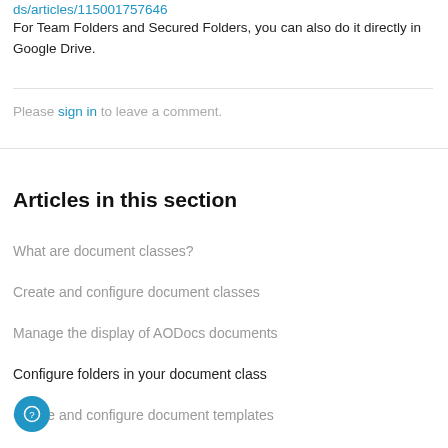ds/articles/115001757646 For Team Folders and Secured Folders, you can also do it directly in Google Drive.
Please sign in to leave a comment.
Articles in this section
What are document classes?
Create and configure document classes
Manage the display of AODocs documents
Configure folders in your document class
Create and configure document templates